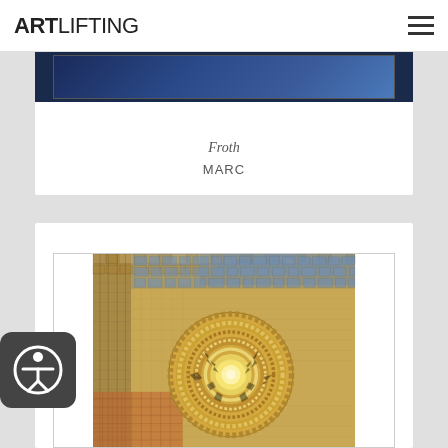ARTLIFTING
[Figure (photo): Partially visible artwork image with dark blue tones at top of first card]
Froth
MARC
[Figure (photo): Mosaic-style artwork with golden/amber tones, circular motif in center, textured tile pattern with blue and orange accents]